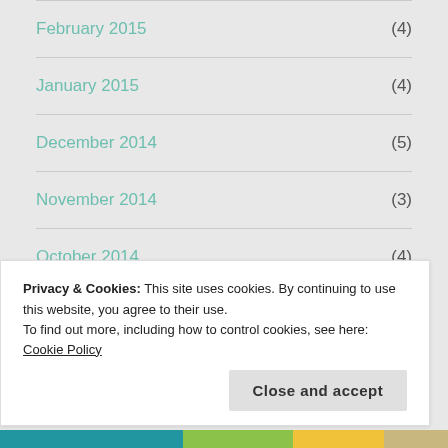February 2015 (4)
January 2015 (4)
December 2014 (5)
November 2014 (3)
October 2014 (4)
September 2014 (7)
August 2014 (6)
Privacy & Cookies: This site uses cookies. By continuing to use this website, you agree to their use.
To find out more, including how to control cookies, see here: Cookie Policy
Close and accept